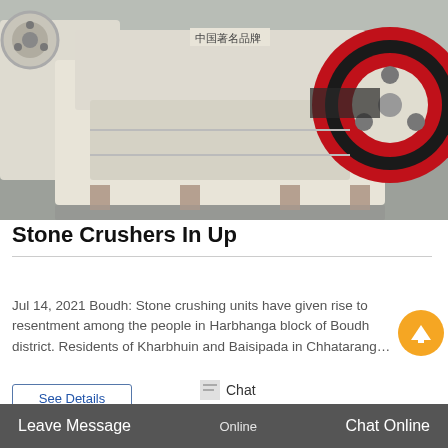[Figure (photo): Industrial stone crusher machine — large cream/white colored jaw crusher with red flywheel visible on the right side, photographed in a factory or warehouse setting with grey floor.]
Stone Crushers In Up
Jul 14, 2021 Boudh: Stone crushing units have given rise to resentment among the people in Harbhanga block of Boudh district. Residents of Kharbhuin and Baisipada in Chhatarang…
See Details
Chat
Leave Message  Online  Chat Online